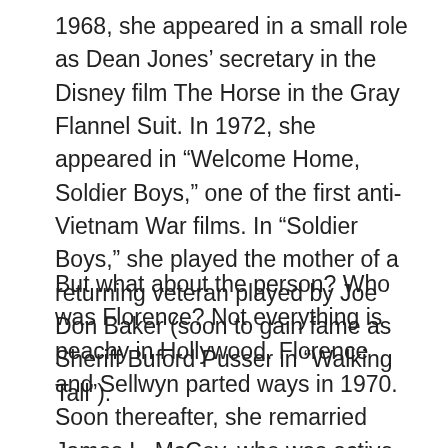1968, she appeared in a small role as Dean Jones' secretary in the Disney film The Horse in the Gray Flannel Suit. In 1972, she appeared in “Welcome Home, Soldier Boys,” one of the first anti-Vietnam War films. In “Soldier Boys,” she played the mother of a returning veteran played by Joe Don Baker (soon to gain fame as Sheriff Buford Pusser in “Walking Tall”).
But what about the person? Who was Florence? Not everything is peachy in Hollywood. Florence and Sellwyn parted ways in 1970. Soon thereafter, she remarried James L. McCoy, who was active